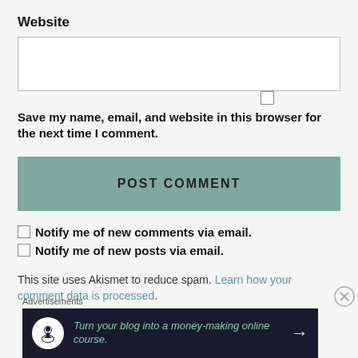Website
Save my name, email, and website in this browser for the next time I comment.
POST COMMENT
Notify me of new comments via email.
Notify me of new posts via email.
This site uses Akismet to reduce spam. Learn how your comment data is processed.
[Figure (screenshot): Advertisement banner: dark background with a circular tree/person icon, teal italic text 'Turn your blog into a money-making online course.' and a right arrow]